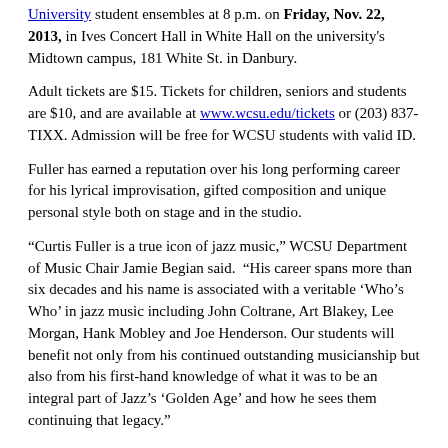University student ensembles at 8 p.m. on Friday, Nov. 22, 2013, in Ives Concert Hall in White Hall on the university's Midtown campus, 181 White St. in Danbury.
Adult tickets are $15. Tickets for children, seniors and students are $10, and are available at www.wcsu.edu/tickets or (203) 837-TIXX. Admission will be free for WCSU students with valid ID.
Fuller has earned a reputation over his long performing career for his lyrical improvisation, gifted composition and unique personal style both on stage and in the studio.
“Curtis Fuller is a true icon of jazz music,” WCSU Department of Music Chair Jamie Begian said. “His career spans more than six decades and his name is associated with a veritable ‘Who’s Who’ in jazz music including John Coltrane, Art Blakey, Lee Morgan, Hank Mobley and Joe Henderson. Our students will benefit not only from his continued outstanding musicianship but also from his first-hand knowledge of what it was to be an integral part of Jazz’s ‘Golden Age’ and how he sees them continuing that legacy.”
The combos performing will include:
Greene I combo – Jimmy Greene, coach (Performing “Arabia”